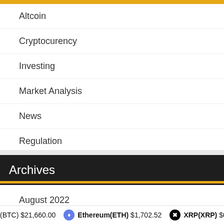Altcoin
Cryptocurency
Investing
Market Analysis
News
Regulation
Archives
August 2022
July 2022
(BTC) $21,660.00   Ethereum(ETH) $1,702.52   XRP(XRP) $0...